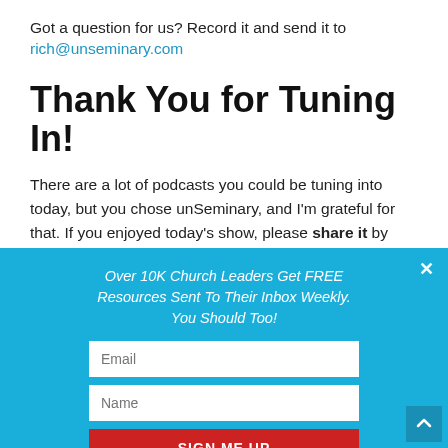Got a question for us? Record it and send it to rich@unseminary.com
Thank You for Tuning In!
There are a lot of podcasts you could be tuning into today, but you chose unSeminary, and I'm grateful for that. If you enjoyed today's show, please share it by using the social media buttons you see at the left hand side of this page. Also, kindly consider taking the 60-seconds it takes
Over 10K Church Leaders Get FREE Resources Sent To Their Inbox Weekly. You Should Too!